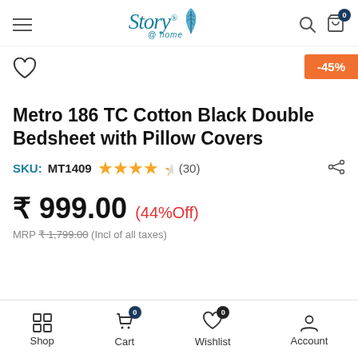Story @ home — navigation header with search and cart
-45%
Metro 186 TC Cotton Black Double Bedsheet with Pillow Covers
SKU: MT1409  ★★★★½  (30)
₹ 999.00 (44%Off)
MRP ₹1,799.00 (Incl of all taxes)
Shop  Cart 0  Wishlist 0  Account